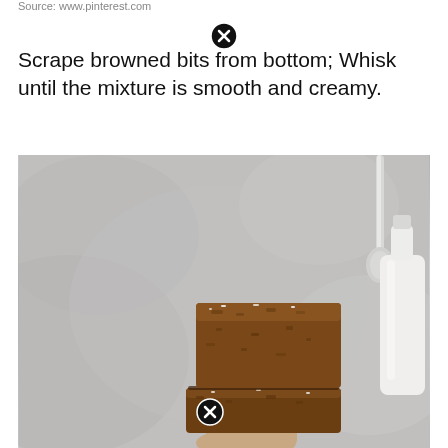Source: www.pinterest.com
Scrape browned bits from bottom; Whisk until the mixture is smooth and creamy.
[Figure (photo): Stack of two brown butter blondies/brownies held by a hand, with a milk bottle and spoon visible in the background on a gray surface. The baked goods appear dense and golden-brown with a slightly crackled top.]